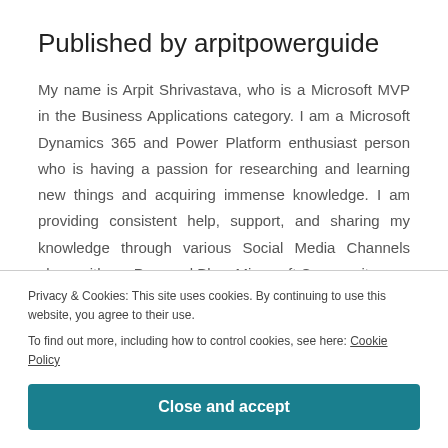Published by arpitpowerguide
My name is Arpit Shrivastava, who is a Microsoft MVP in the Business Applications category. I am a Microsoft Dynamics 365 and Power Platform enthusiast person who is having a passion for researching and learning new things and acquiring immense knowledge. I am providing consistent help, support, and sharing my knowledge through various Social Media Channels along with my Personal Blog, Microsoft Community.
Privacy & Cookies: This site uses cookies. By continuing to use this website, you agree to their use.
To find out more, including how to control cookies, see here: Cookie Policy
Close and accept